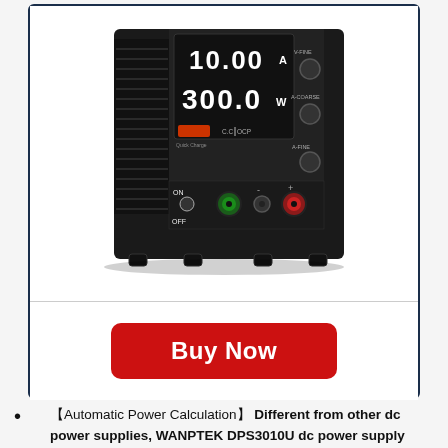[Figure (photo): WANPTEK DPS3010U DC power supply unit showing front panel with digital display showing 10.00A and 300.0W, Quick Charge USB port, CC/OCP indicators, ON/OFF switch, and output terminals]
Buy Now
【Automatic Power Calculation】 Different from other dc power supplies, WANPTEK DPS3010U dc power supply can automatically calculate the power value according to the